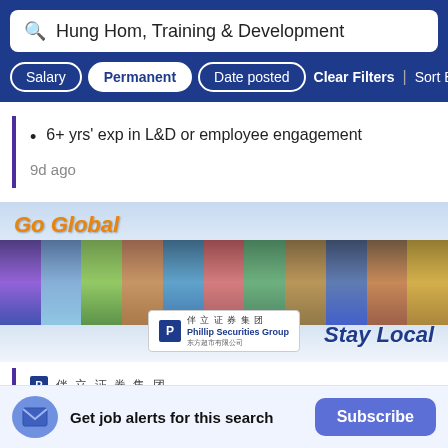Hung Hom, Training & Development
Salary | Permanent | Date posted | Clear Filters | Sort By Rel
6+ yrs' exp in L&D or employee engagement
9d ago
[Figure (photo): Go Global / Stay Local advertisement banner for Phillip Securities Group showing landmark images from around the world]
伴 立 证 券 集 团
Get job alerts for this search Subscribe